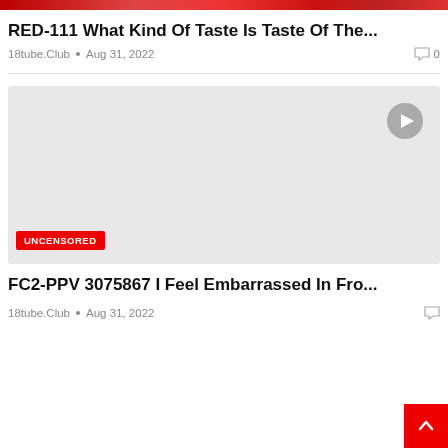[Figure (photo): Top banner image strip, partially cut off, showing a colorful scene]
RED-111 What Kind Of Taste Is Taste Of The...
18tube.Club • Aug 31, 2022   0
[Figure (screenshot): Gray thumbnail placeholder with play button icon and UNCENSORED badge]
FC2-PPV 3075867 I Feel Embarrassed In Fro...
18tube.Club • Aug 31, 2022